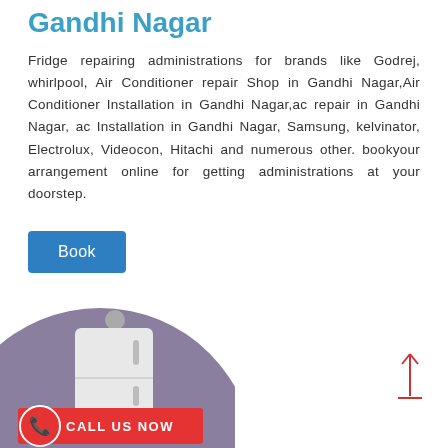Gandhi Nagar
Fridge repairing administrations for brands like Godrej, whirlpool, Air Conditioner repair Shop in Gandhi Nagar,Air Conditioner Installation in Gandhi Nagar,ac repair in Gandhi Nagar, ac Installation in Gandhi Nagar, Samsung, kelvinator, Electrolux, Videocon, Hitachi and numerous other. bookyour arrangement online for getting administrations at your doorstep.
Book
[Figure (illustration): A stylized illustration of a refrigerator on a purple/mauve circular background, with a red 'CALL US NOW' badge at the bottom left featuring a phone icon]
CALL US NOW